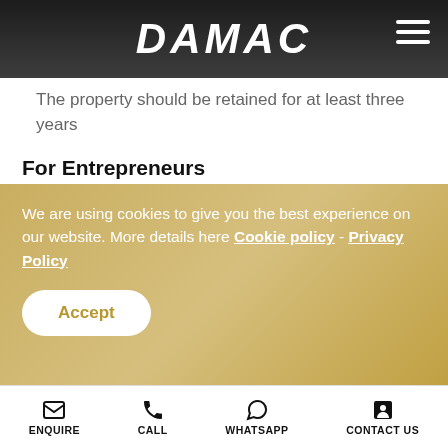DAMAC
The property should be retained for at least three years
For Entrepreneurs
Individuals should have an investment of at least AED 500,000 in an existing project or they should be approved by an accredited business incubator.
Entrepreneurs may be eligible for a multi-entry visa for six months which can be renewed for the same
We are using cookies to give you the best experience on our website. More details here Cookie policy - Privacy Policy
ENQUIRE  CALL  WHATSAPP  CONTACT US